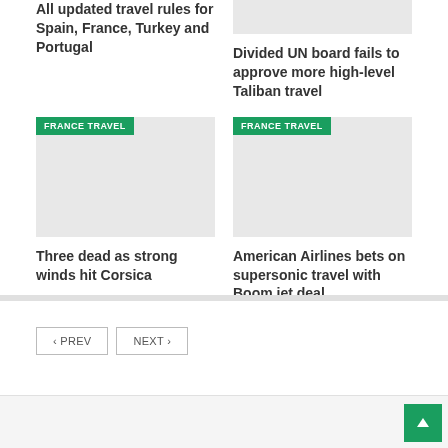[Figure (photo): Gray placeholder image top right]
All updated travel rules for Spain, France, Turkey and Portugal
Divided UN board fails to approve more high-level Taliban travel
[Figure (photo): Gray placeholder image with FRANCE TRAVEL tag, left]
[Figure (photo): Gray placeholder image with FRANCE TRAVEL tag, right]
Three dead as strong winds hit Corsica
American Airlines bets on supersonic travel with Boom jet deal
< PREV
NEXT >